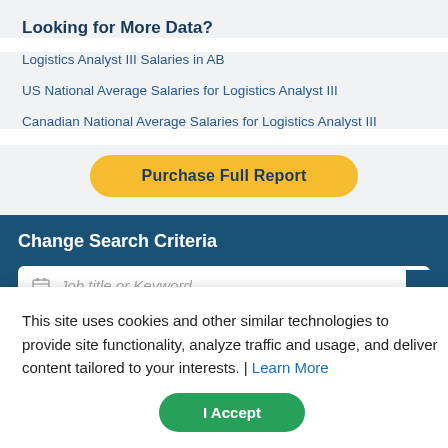Looking for More Data?
Logistics Analyst III Salaries in AB
US National Average Salaries for Logistics Analyst III
Canadian National Average Salaries for Logistics Analyst III
Purchase Full Report
Change Search Criteria
Job title or Keyword
This site uses cookies and other similar technologies to provide site functionality, analyze traffic and usage, and deliver content tailored to your interests. | Learn More
I Accept